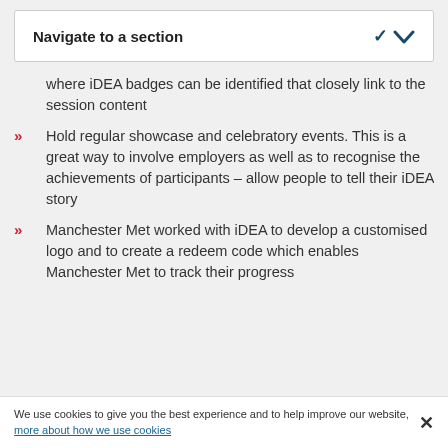Navigate to a section
where iDEA badges can be identified that closely link to the session content
Hold regular showcase and celebratory events. This is a great way to involve employers as well as to recognise the achievements of participants – allow people to tell their iDEA story
Manchester Met worked with iDEA to develop a customised logo and to create a redeem code which enables Manchester Met to track their progress
We use cookies to give you the best experience and to help improve our website, more about how we use cookies